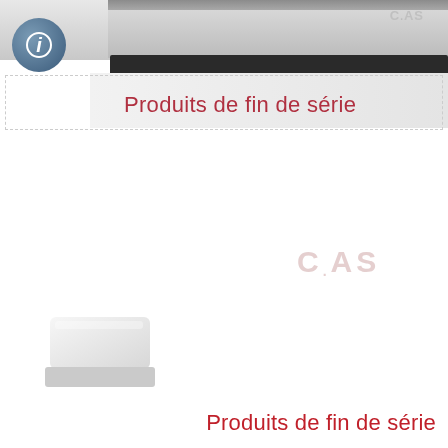[Figure (photo): Top portion showing a CAS brand scale/product photo with a circular info icon badge, black display bar, and light gray banner]
Produits de fin de série
[Figure (logo): CAS brand logo watermark in faded pink/gray in the middle of the page]
[Figure (photo): A white CAS scale product image in bottom left area]
Produits de fin de série